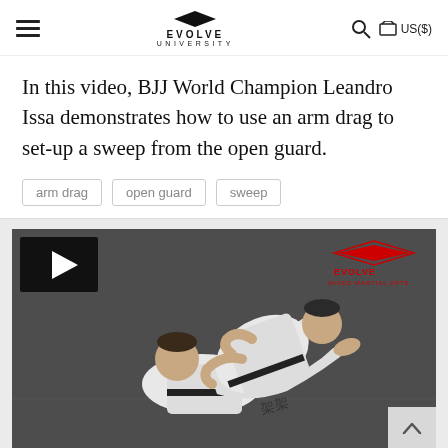Evolve University — US($)
In this video, BJJ World Champion Leandro Issa demonstrates how to use an arm drag to set-up a sweep from the open guard.
arm drag
open guard
sweep
[Figure (photo): Video thumbnail showing two BJJ practitioners in white gis on a gray mat. One athlete is on the ground using open guard, the other is being swept. A play button overlay is visible in the top left. Evolve MMA watermark in top right corner.]